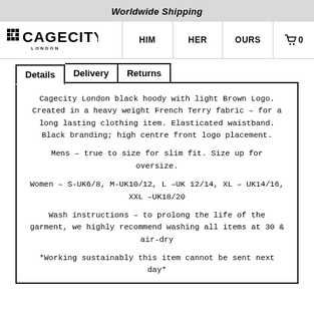Worldwide Shipping
[Figure (logo): CAGECITY LONDON logo with stylized grid icon]
HIM
HER
OURS
🛒 0
Details | Delivery | Returns
Cagecity London black hoody with light Brown Logo. Created in a heavy weight French Terry fabric – for a long lasting clothing item. Elasticated waistband. Black branding; high centre front logo placement.
Mens – true to size for slim fit. Size up for oversize.
Women – S-UK6/8, M-UK10/12, L –UK 12/14, XL – UK14/16, XXL –UK18/20
Wash instructions – to prolong the life of the garment, we highly recommend washing all items at 30 & air-dry
*Working sustainably this item cannot be sent next day*